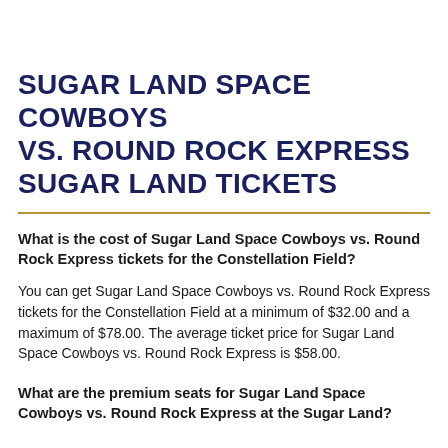SUGAR LAND SPACE COWBOYS VS. ROUND ROCK EXPRESS SUGAR LAND TICKETS
What is the cost of Sugar Land Space Cowboys vs. Round Rock Express tickets for the Constellation Field?
You can get Sugar Land Space Cowboys vs. Round Rock Express tickets for the Constellation Field at a minimum of $32.00 and a maximum of $78.00. The average ticket price for Sugar Land Space Cowboys vs. Round Rock Express is $58.00.
What are the premium seats for Sugar Land Space Cowboys vs. Round Rock Express at the Sugar Land?